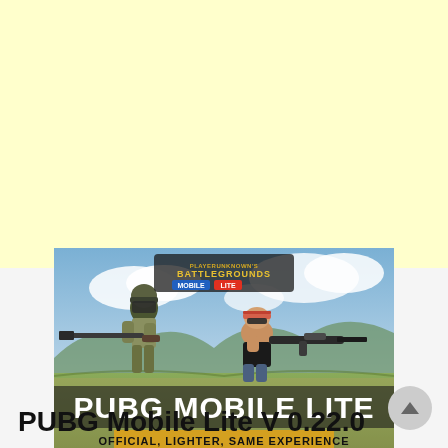[Figure (illustration): PUBG Mobile Lite promotional game banner showing two armed characters against a landscape background with the text 'PUBG MOBILE LITE' and tagline 'OFFICIAL, LIGHTER, SAME EXPERIENCE'. Logo 'PLAYERUNKNOWN'S BATTLEGROUNDS MOBILE LITE' at top.]
PUBG Mobile Lite V 0.22.0